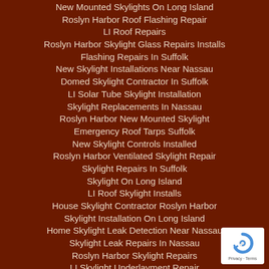New Mounted Skylights On Long Island
Roslyn Harbor Roof Flashing Repair
LI Roof Repairs
Roslyn Harbor Skylight Glass Repairs Installs
Flashing Repairs In Suffolk
New Skylight Installations Near Nassau
Domed Skylight Contractor In Suffolk
LI Solar Tube Skylight Installation
Skylight Replacements In Nassau
Roslyn Harbor New Mounted Skylight
Emergency Roof Tarps Suffolk
New Skylight Controls Installed
Roslyn Harbor Ventilated Skylight Repair
Skylight Repairs In Suffolk
Skylight On Long Island
LI Roof Skylight Installs
House Skylight Contractor Roslyn Harbor
Skylight Installation On Long Island
Home Skylight Leak Detection Near Nassau
Skylight Leak Repairs In Nassau
Roslyn Harbor Skylight Repairs
LI Skylight Underlayment Repair
New Roslyn Harbor Roof Skylights
[Figure (logo): Google reCAPTCHA badge with Privacy and Terms links]